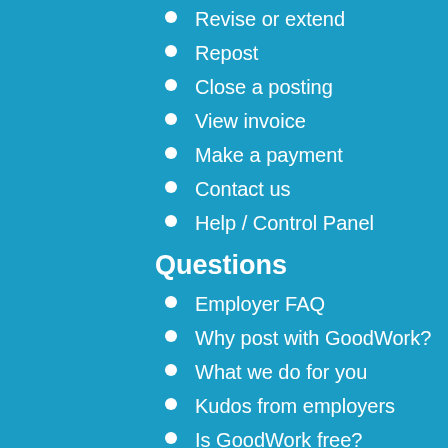Revise or extend
Repost
Close a posting
View invoice
Make a payment
Contact us
Help / Control Panel
Questions
Employer FAQ
Why post with GoodWork?
What we do for you
Kudos from employers
Is GoodWork free?
Suggested rates
More
Hiring an Executive Director
Help spread the word